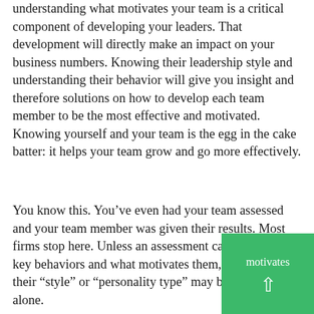understanding what motivates your team is a critical component of developing your leaders. That development will directly make an impact on your business numbers. Knowing their leadership style and understanding their behavior will give you insight and therefore solutions on how to develop each team member to be the most effective and motivated. Knowing yourself and your team is the egg in the cake batter: it helps your team grow and go more effectively.
You know this. You’ve even had your team assessed and your team member was given their results. Most firms stop here. Unless an assessment can spotlight on key behaviors and what motivates them, identifying their “style” or “personality type” may be useless alone.
[Figure (other): Green box overlay in the bottom-right corner containing the text 'motivates' and an upward arrow icon in white on a green background.]